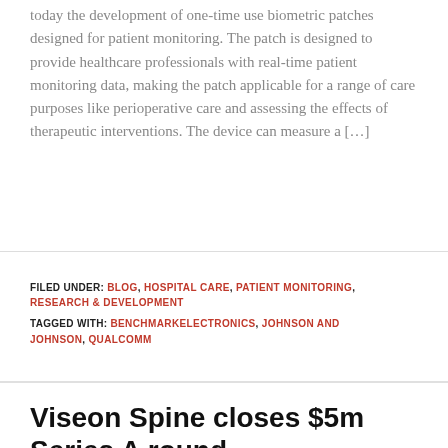today the development of one-time use biometric patches designed for patient monitoring. The patch is designed to provide healthcare professionals with real-time patient monitoring data, making the patch applicable for a range of care purposes like perioperative care and assessing the effects of therapeutic interventions. The device can measure a […]
FILED UNDER: BLOG, HOSPITAL CARE, PATIENT MONITORING, RESEARCH & DEVELOPMENT
TAGGED WITH: BENCHMARKELECTRONICS, JOHNSON AND JOHNSON, QUALCOMM
Viseon Spine closes $5m Series A round